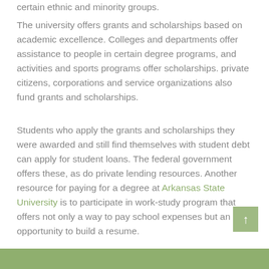certain ethnic and minority groups.
The university offers grants and scholarships based on academic excellence. Colleges and departments offer assistance to people in certain degree programs, and activities and sports programs offer scholarships. private citizens, corporations and service organizations also fund grants and scholarships.
Students who apply the grants and scholarships they were awarded and still find themselves with student debt can apply for student loans. The federal government offers these, as do private lending resources. Another resource for paying for a degree at Arkansas State University is to participate in work-study program that offers not only a way to pay school expenses but an opportunity to build a resume.